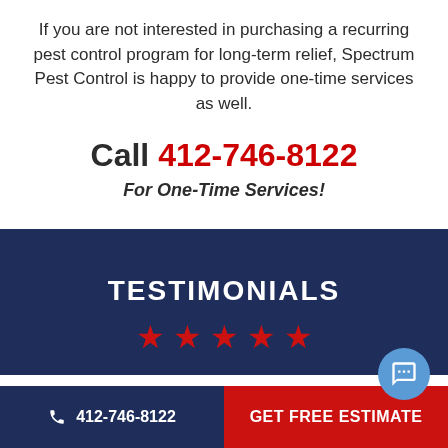If you are not interested in purchasing a recurring pest control program for long-term relief, Spectrum Pest Control is happy to provide one-time services as well.
Call 412-746-8122
For One-Time Services!
TESTIMONIALS
[Figure (other): Five red star rating icons in a row]
412-746-8122  GET FREE ESTIMATE